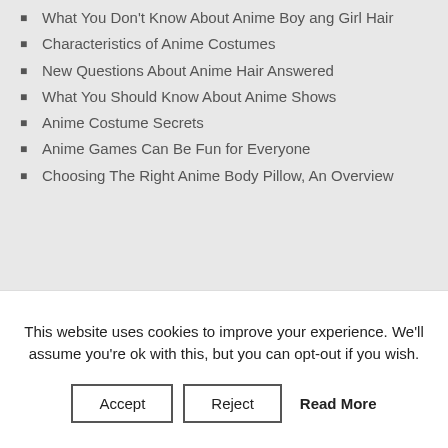What You Don't Know About Anime Boy ang Girl Hair
Characteristics of Anime Costumes
New Questions About Anime Hair Answered
What You Should Know About Anime Shows
Anime Costume Secrets
Anime Games Can Be Fun for Everyone
Choosing The Right Anime Body Pillow, An Overview
This website uses cookies to improve your experience. We'll assume you're ok with this, but you can opt-out if you wish.
Accept | Reject | Read More